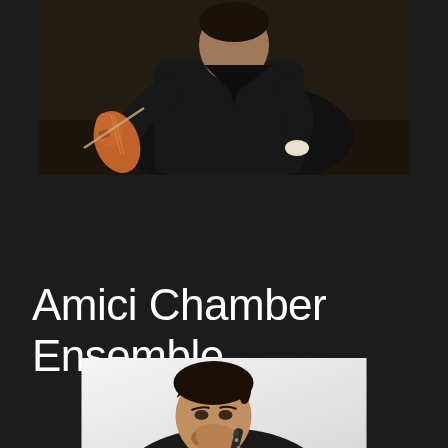[Figure (photo): A man in a dark suit holding a violin, photographed against a dark background. Upper body visible.]
Amici Chamber Ensemble
[Figure (photo): A man with dark hair resting his chin on his hand, smiling, with a clarinet visible, photographed against a light/white background.]